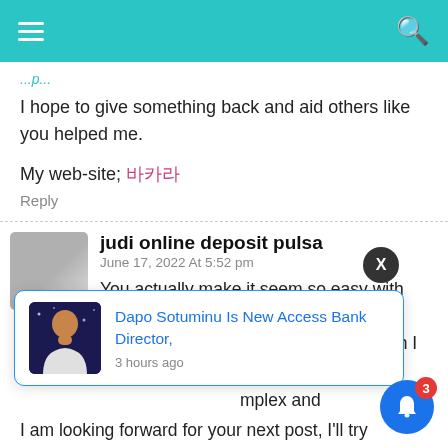Navigation bar with hamburger menu and search icon
I hope to give something back and aid others like you helped me.
My web-site; 바카라
Reply
judi online deposit pulsa
June 17, 2022 At 5:52 pm
You actually make it seem so easy with your presentation but I find this matter to be really something which I think I would
mplex and
I am looking forward for your next post, I'll try
[Figure (screenshot): Notification popup: Dapo Sotuminu Is New Access Bank Director, 3 hours ago, with person photo]